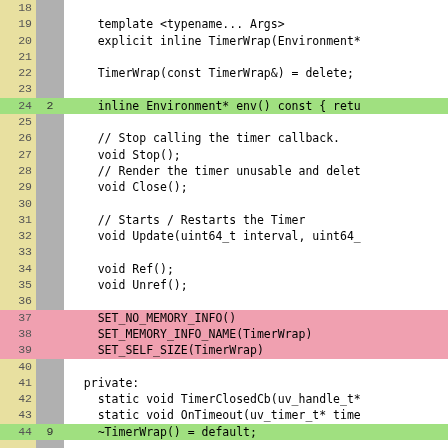[Figure (screenshot): Source code viewer showing C++ code for a TimerWrap class, with line numbers on the left (yellow background), coverage counts in a gray column, and code on the right. Line 24 is highlighted green with coverage count 2. Lines 37-39 are highlighted red (no coverage). Line 44 is partially visible at bottom with green highlight.]